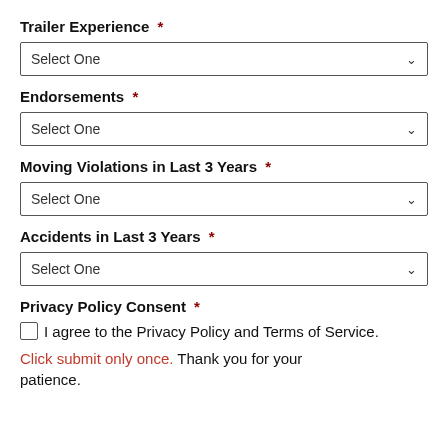Trailer Experience *
Select One
Endorsements *
Select One
Moving Violations in Last 3 Years *
Select One
Accidents in Last 3 Years *
Select One
Privacy Policy Consent *
I agree to the Privacy Policy and Terms of Service.
Click submit only once. Thank you for your patience.